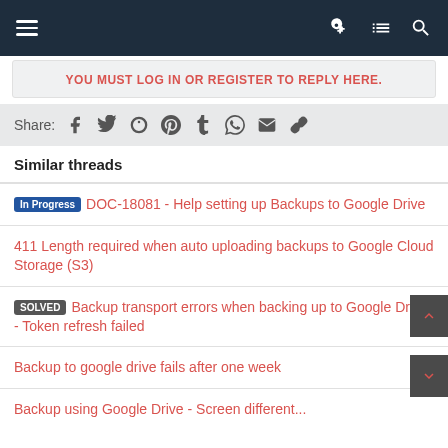Navigation bar with menu, key, list, search icons
YOU MUST LOG IN OR REGISTER TO REPLY HERE.
Share: [facebook] [twitter] [reddit] [pinterest] [tumblr] [whatsapp] [email] [link]
Similar threads
In Progress  DOC-18081 - Help setting up Backups to Google Drive
411 Length required when auto uploading backups to Google Cloud Storage (S3)
SOLVED  Backup transport errors when backing up to Google Drive - Token refresh failed
Backup to google drive fails after one week
Backup using Google Drive - Screen different...